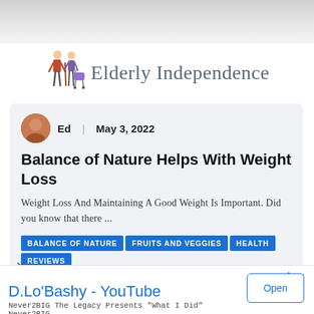[Figure (photo): Blurred top image bar, partial website screenshot]
Elderly Independence
Ed | May 3, 2022
Balance of Nature Helps With Weight Loss
Weight Loss And Maintaining A Good Weight Is Important. Did you know that there ...
BALANCE OF NATURE
FRUITS AND VEGGIES
HEALTH
REVIEWS
D.Lo'Bashy - YouTube
Never2BIG The Legacy Presents "What I Did"
Never2BIG